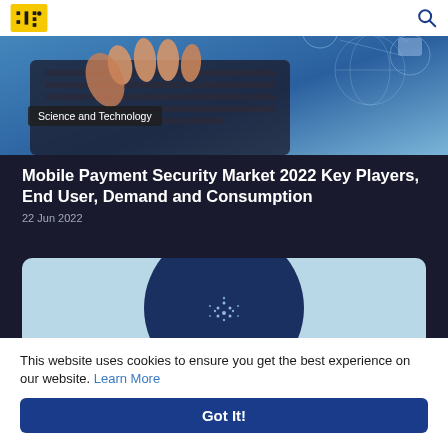Logo and search icon navigation bar
[Figure (photo): Person's hand typing on a laptop keyboard with digital technology/network graphics overlay in blue tones]
Science and Technology
Mobile Payment Security Market 2022 Key Players, End User, Demand and Consumption
22 Jun 2022
[Figure (infographic): Dark blue circular graphic on light blue background with small dot cluster pattern, partially visible text at bottom reading 'TITl.. 4. DUMB0']
This website uses cookies to ensure you get the best experience on our website. Learn More
Got It!